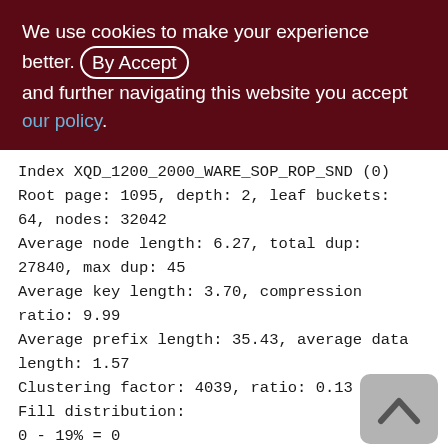We use cookies to make your experience better. By accepting and further navigating this website you accept our policy.
Index XQD_1200_2000_WARE_SOP_ROP_SND (0)
Root page: 1095, depth: 2, leaf buckets: 64, nodes: 32042
Average node length: 6.27, total dup: 27840, max dup: 45
Average key length: 3.70, compression ratio: 9.99
Average prefix length: 35.43, average data length: 1.57
Clustering factor: 4039, ratio: 0.13
Fill distribution:
0 - 19% = 0